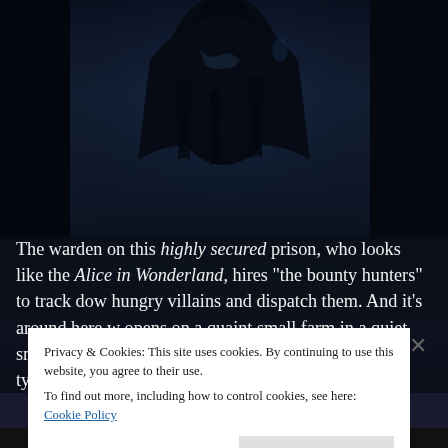[Figure (photo): Dark cinematic still from a movie or TV show, showing a shadowy figure in dark elaborate costume/clothing against a dim blue-toned background. The image occupies the top portion of the page.]
The warden on this highly secured prison, who looks like the [Queen of Hearts from] Alice in Wonderland, hires "the bounty hunters" to track dow[n] hungry villains and dispatch them. And it's around here w[here the story] opens on a quaint small farm in a quiet small town. Nothi[ng unusual] about this place. We've got our A typical American breed [farm... fer... e t...]
Privacy & Cookies: This site uses cookies. By continuing to use this website, you agree to their use.
To find out more, including how to control cookies, see here: Cookie Policy